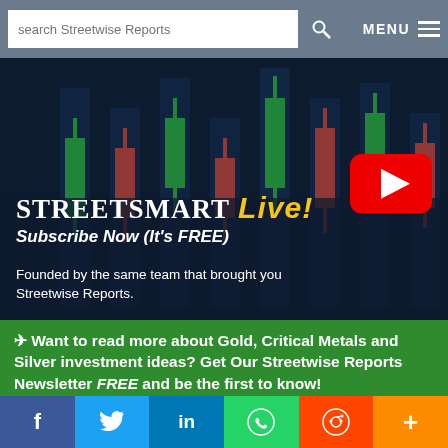search Streetwise Reports | MENU
[Figure (screenshot): StreetSmart Live! Subscribe Now (It's FREE) — dark background with candlestick chart graphic and YouTube play button. Founded by the same team that brought you Streetwise Reports.]
Want to read more about Gold, Critical Metals and Silver investment ideas? Get Our Streetwise Reports Newsletter FREE and be the first to know!
Enter your email address
f | Twitter | in | WhatsApp | Reddit | +